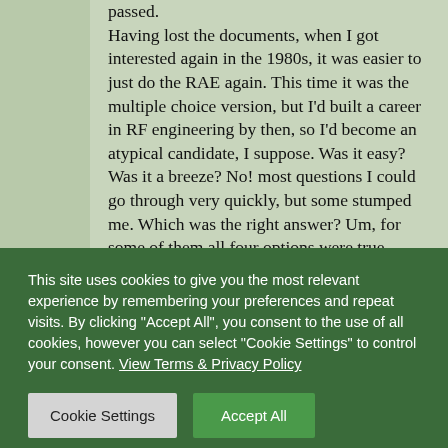…one wasn't easy in the day, but people passed. Having lost the documents, when I got interested again in the 1980s, it was easier to just do the RAE again. This time it was the multiple choice version, but I'd built a career in RF engineering by then, so I'd become an atypical candidate, I suppose. Was it easy? Was it a breeze? No! most questions I could go through very quickly, but some stumped me. Which was the right answer? Um, for some of them all four options were true –
This site uses cookies to give you the most relevant experience by remembering your preferences and repeat visits. By clicking "Accept All", you consent to the use of all cookies, however you can select "Cookie Settings" to control your consent. View Terms & Privacy Policy
Cookie Settings
Accept All